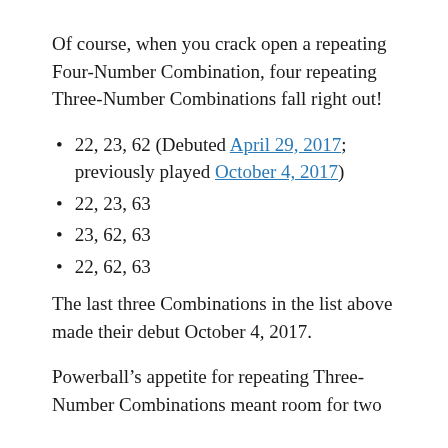Of course, when you crack open a repeating Four-Number Combination, four repeating Three-Number Combinations fall right out!
22, 23, 62 (Debuted April 29, 2017; previously played October 4, 2017)
22, 23, 63
23, 62, 63
22, 62, 63
The last three Combinations in the list above made their debut October 4, 2017.
Powerball’s appetite for repeating Three-Number Combinations meant room for two